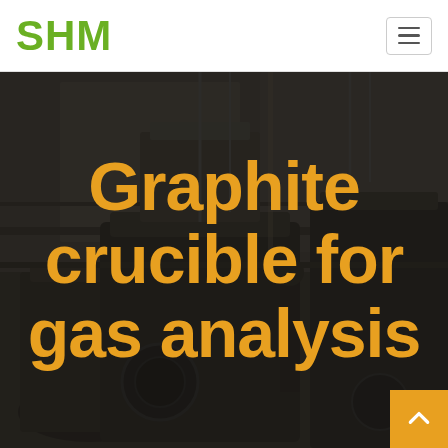SHM
[Figure (photo): Dark industrial machinery background — large mechanical equipment (cone crusher or similar heavy machinery) photographed in low lighting, used as a hero background image]
Graphite crucible for gas analysis